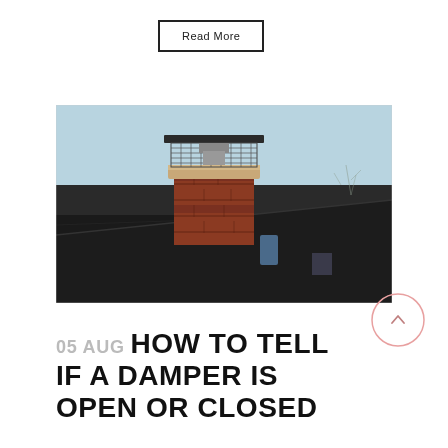Read More
[Figure (photo): Photograph of a brick chimney with a metal chimney cap on a dark shingled rooftop against a pale blue sky]
05 AUG HOW TO TELL IF A DAMPER IS OPEN OR CLOSED